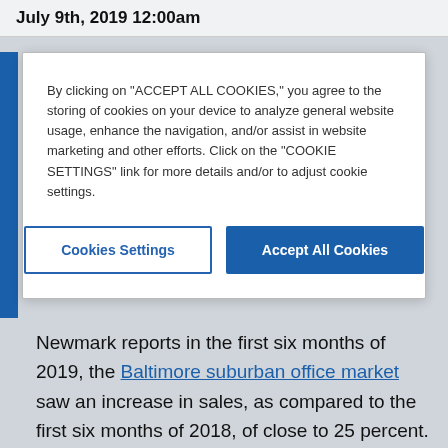July 9th, 2019 12:00am
By clicking on "ACCEPT ALL COOKIES," you agree to the storing of cookies on your device to analyze general website usage, enhance the navigation, and/or assist in website marketing and other efforts. Click on the "COOKIE SETTINGS" link for more details and/or to adjust cookie settings.
Cookies Settings | Accept All Cookies
Newmark reports in the first six months of 2019, the Baltimore suburban office market saw an increase in sales, as compared to the first six months of 2018, of close to 25 percent. Suburban office sales in the first six months of 2019 totaled $246 million compared to the first six months of 2018